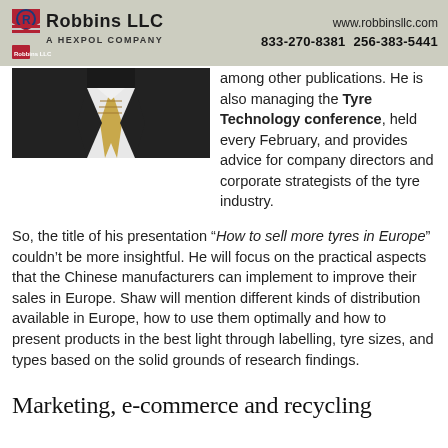Robbins LLC  A HEXPOL COMPANY  www.robbinsllc.com  833-270-8381  256-383-5441
[Figure (photo): Photo of a person in a dark suit with a patterned tie, cropped to show torso]
among other publications. He is also managing the Tyre Technology conference, held every February, and provides advice for company directors and corporate strategists of the tyre industry.
So, the title of his presentation “How to sell more tyres in Europe” couldn’t be more insightful. He will focus on the practical aspects that the Chinese manufacturers can implement to improve their sales in Europe. Shaw will mention different kinds of distribution available in Europe, how to use them optimally and how to present products in the best light through labelling, tyre sizes, and types based on the solid grounds of research findings.
Marketing, e-commerce and recycling